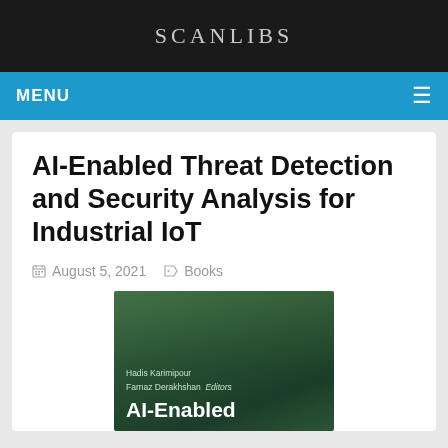SCANLIBS
MENU
AI-Enabled Threat Detection and Security Analysis for Industrial IoT
August 5, 2021  Books
[Figure (photo): Book cover showing 'AI-Enabled' title text at bottom on a dark green background, with authors Hadis Karimipour and Farnaz Derakhshan listed as Editors]